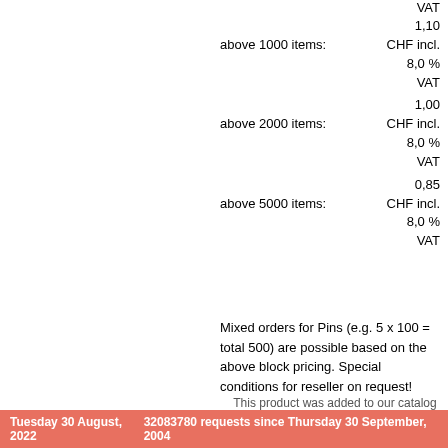VAT
above 1000 items:
1,10
CHF incl.
8,0 %
VAT
above 2000 items:
1,00
CHF incl.
8,0 %
VAT
above 5000 items:
0,85
CHF incl.
8,0 %
VAT
Mixed orders for Pins (e.g. 5 x 100 = total 500) are possible based on the above block pricing. Special conditions for reseller on request!
This product was added to our catalog on Friday 12 August, 2005.
Tuesday 30 August, 2022    32083780 requests since Thursday 30 September, 2004